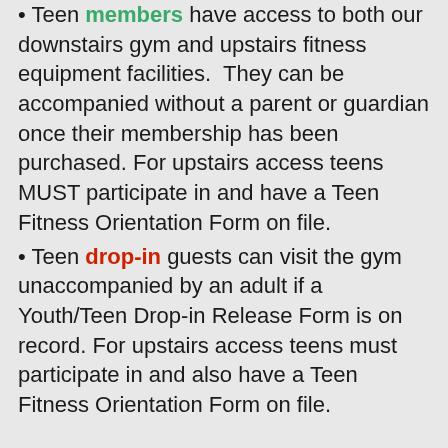Teen members have access to both our downstairs gym and upstairs fitness equipment facilities.  They can be accompanied without a parent or guardian once their membership has been purchased. For upstairs access teens MUST participate in and have a Teen Fitness Orientation Form on file.
Teen drop-in guests can visit the gym unaccompanied by an adult if a Youth/Teen Drop-in Release Form is on record. For upstairs access teens must participate in and also have a Teen Fitness Orientation Form on file.